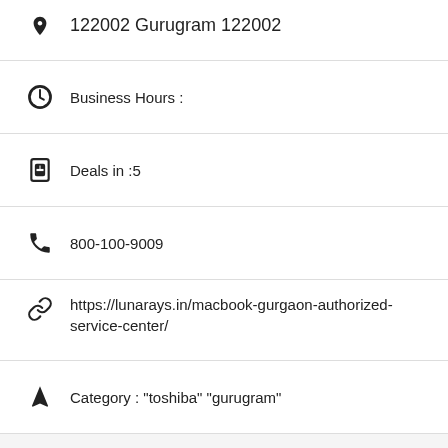122002 Gurugram 122002
Business Hours :
Deals in :5
800-100-9009
https://lunarays.in/macbook-gurgaon-authorized-service-center/
Category : "toshiba" "gurugram"
Meta Tags: Apple Service Center Gurugram Near Me | Authorized Apple Service Centers in Gurugram | Apple Service Centre Gurugram | Authorized Apple Laptop Repair | Apple Authorized Service Center | Apple Authorized Service Centre in Gurugram | Apple Store Gurugram